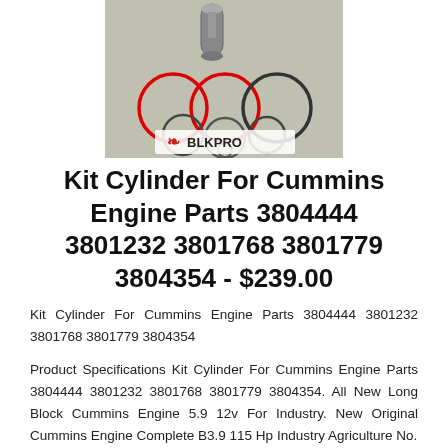[Figure (photo): Product photo showing a cylinder kit with piston rings, wrist pin, and other engine components laid out on a surface. BLKPRO brand logo visible at bottom of image.]
Kit Cylinder For Cummins Engine Parts 3804444 3801232 3801768 3801779 3804354 - $239.00
Kit Cylinder For Cummins Engine Parts 3804444 3801232 3801768 3801779 3804354
Product Specifications Kit Cylinder For Cummins Engine Parts 3804444 3801232 3801768 3801779 3804354. All New Long Block Cummins Engine 5.9 12v For Industry. New Original Cummins Engine Complete B3.9 115 Hp Industry Agriculture No.